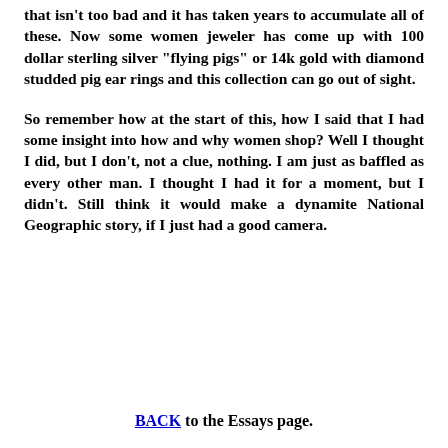that isn't too bad and it has taken years to accumulate all of these. Now some women jeweler has come up with 100 dollar sterling silver "flying pigs" or 14k gold with diamond studded pig ear rings and this collection can go out of sight.
So remember how at the start of this, how I said that I had some insight into how and why women shop? Well I thought I did, but I don't, not a clue, nothing. I am just as baffled as every other man. I thought I had it for a moment, but I didn't. Still think it would make a dynamite National Geographic story, if I just had a good camera.
BACK to the Essays page.